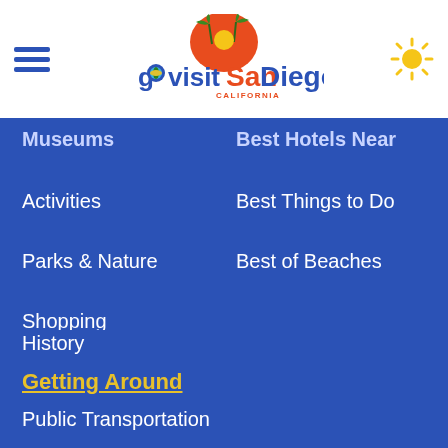govisitSanDiego - navigation menu header
Museums
Best Hotels Near
Activities
Best Things to Do
Parks & Nature
Best of Beaches
Shopping
Theaters
History
Getting Around
Public Transportation